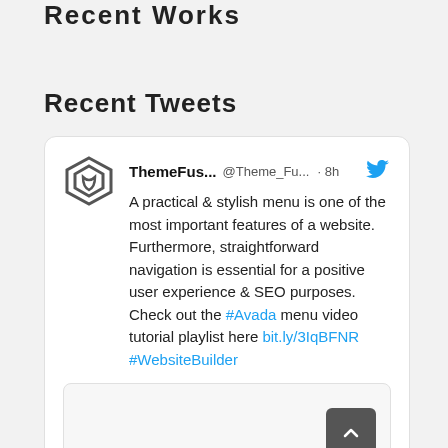Recent Works
Recent Tweets
[Figure (screenshot): Tweet card from ThemeFus... @Theme_Fu... · 8h with ThemeFusion logo avatar and Twitter bird icon. Tweet text: A practical & stylish menu is one of the most important features of a website. Furthermore, straightforward navigation is essential for a positive user experience & SEO purposes. Check out the #Avada menu video tutorial playlist here bit.ly/3IqBFNR #WebsiteBuilder. Below the tweet is an embedded image preview box with a scroll-to-top button (dark grey rounded rectangle with up chevron arrow).]